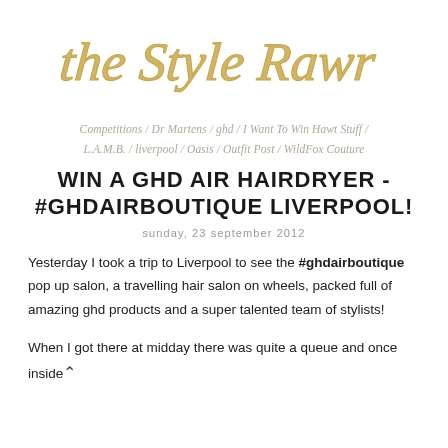[Figure (logo): The Style Rawr logo in gold cursive handwriting script]
Competitions / Dr Martens / ghd / I Want To Win Hawt Stuff / L.A.M.B. / liverpool / Oasis / Outfit Post / WildFox Couture
WIN A GHD AIR HAIRDRYER - #GHDAIRBOUTIQUE LIVERPOOL!
sunday, 23 september 2012
Yesterday I took a trip to Liverpool to see the #ghdairboutique pop up salon, a travelling hair salon on wheels, packed full of amazing ghd products and a super talented team of stylists!
When I got there at midday there was quite a queue and once inside